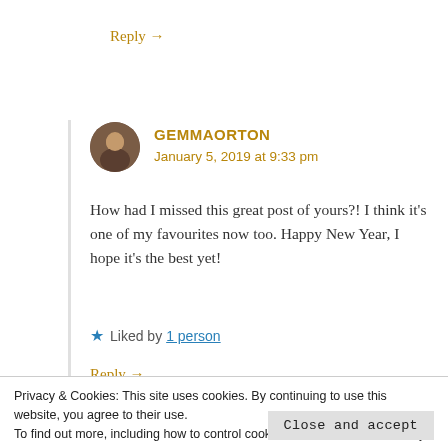Reply →
[Figure (photo): Circular avatar photo of a person]
GEMMAORTON
January 5, 2019 at 9:33 pm
How had I missed this great post of yours?! I think it's one of my favourites now too. Happy New Year, I hope it's the best yet!
★ Liked by 1 person
Reply →
Privacy & Cookies: This site uses cookies. By continuing to use this website, you agree to their use.
To find out more, including how to control cookies, see here: Cookie Policy
Close and accept
December 31, 2018 at 6:43 pm